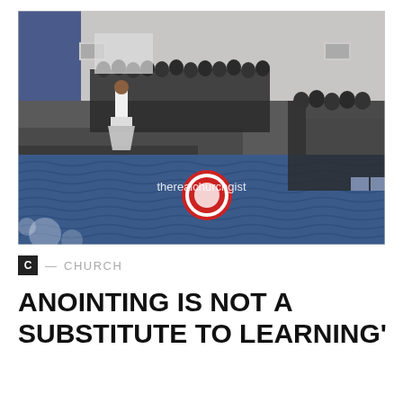[Figure (photo): Interior of a church with a speaker at a podium on stage, large congregation standing and filling the hall, blue patterned carpet floor with a circular logo/emblem in the center, watermark text 'therealchurchgist' overlaid on the image]
C — CHURCH
ANOINTING IS NOT A SUBSTITUTE TO LEARNING'